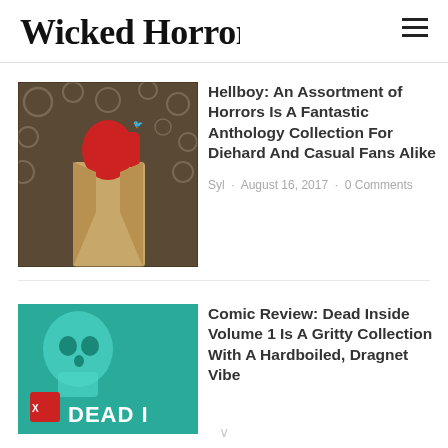Wicked Horror
ready to kick ass and take
[Figure (illustration): Hellboy comic art — red-skinned figure in tan coat against dark tentacled background]
Hellboy: An Assortment of Horrors Is A Fantastic Anthology Collection For Diehard And Casual Fans Alike
Syl · August 16, 2017 · 0 Comments
[Figure (illustration): Dead Inside comic cover — teal background with skull motif and red logo, partial DEAD I text visible]
Comic Review: Dead Inside Volume 1 Is A Gritty Collection With A Hardboiled, Dragnet Vibe